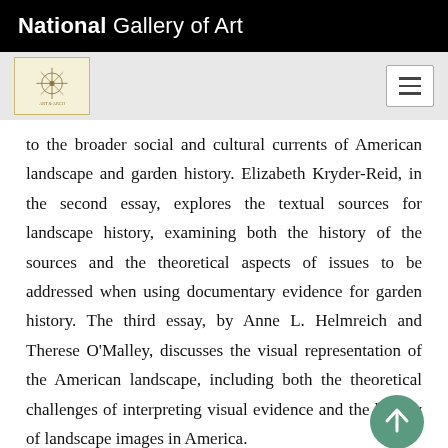National Gallery of Art
to the broader social and cultural currents of American landscape and garden history. Elizabeth Kryder-Reid, in the second essay, explores the textual sources for landscape history, examining both the history of the sources and the theoretical aspects of issues to be addressed when using documentary evidence for garden history. The third essay, by Anne L. Helmreich and Therese O'Malley, discusses the visual representation of the American landscape, including both the theoretical challenges of interpreting visual evidence and the history of landscape images in America.
Keywords: Each of the one hundred Keywords pages